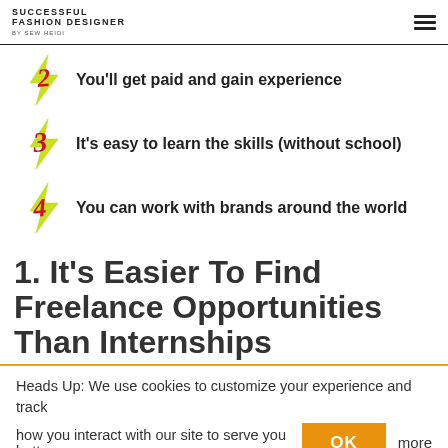SUCCESSFUL FASHION DESIGNER BY SEW HEIDI
You'll get paid and gain experience
It's easy to learn the skills (without school)
You can work with brands around the world
1. It's Easier To Find Freelance Opportunities Than Internships
Heads Up: We use cookies to customize your experience and track how you interact with our site to serve you better. more info